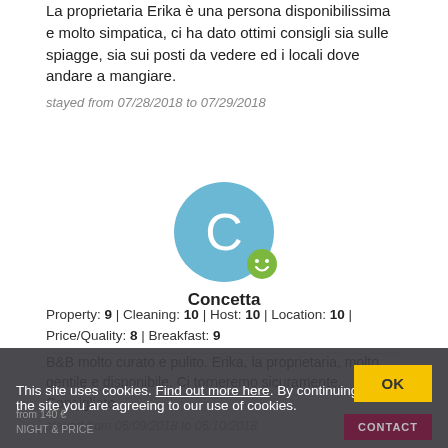La proprietaria Erika è una persona disponibilissima e molto simpatica, ci ha dato ottimi consigli sia sulle spiagge, sia sui posti da vedere ed i locali dove andare a mangiare.
stayed from 07/28/2018 to 07/29/2018
[Figure (illustration): User avatar circle with letter C in light blue, with a green smiley badge, and username Concetta below]
Concetta
Property: 9 | Cleaning: 10 | Host: 10 | Location: 10 | Price/Quality: 8 | Breakfast: 9
B&B molto curato e pulito. Erika, la proprietaria, molto gentile e disponibile. Ci torneremo sicuramente. Consigliato.
stayed from 06/09/2018 to 06/10/2018
This site uses cookies. Find out more here. By continuing to browse the site you are agreeing to our use of cookies.